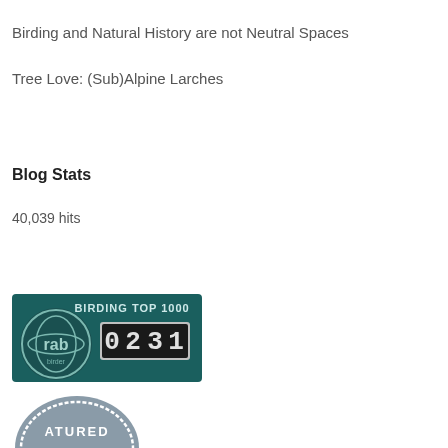Birding and Natural History are not Neutral Spaces
Tree Love: (Sub)Alpine Larches
Blog Stats
40,039 hits
[Figure (logo): Birding Top 1000 badge showing rank 0231 with a circular bird logo on a teal/dark background]
[Figure (logo): Featured badge - partially visible circular badge with text ATURED]